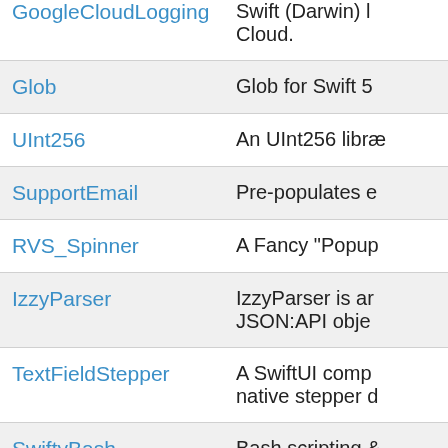| Package | Description |
| --- | --- |
| GoogleCloudLogging | Swift (Darwin) l... Cloud. |
| Glob | Glob for Swift 5 |
| UInt256 | An UInt256 libr... |
| SupportEmail | Pre-populates e... |
| RVS_Spinner | A Fancy "Popup... |
| IzzyParser | IzzyParser is ar... JSON:API obje... |
| TextFieldStepper | A SwiftUI comp... native stepper d... |
| SwiftyBash | Bash scripting &... |